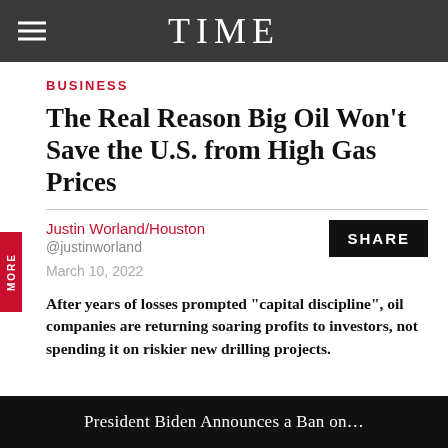TIME
BUSINESS
The Real Reason Big Oil Won't Save the U.S. from High Gas Prices
Justin Worland/Houston
@justinworland
March 10, 2022
After years of losses prompted "capital discipline", oil companies are returning soaring profits to investors, not spending it on riskier new drilling projects.
President Biden Announces a Ban on...